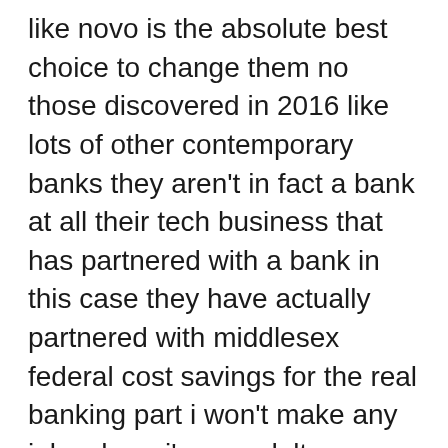like novo is the absolute best choice to change them no those discovered in 2016 like lots of other contemporary banks they aren't in fact a bank at all their tech business that has partnered with a bank in this case they have actually partnered with middlesex federal cost savings for the real banking part i won't make any jokes here i'm an adult excellent lord even though i seldom imitate one anyways novo the tech company covers all the fancy software you communicate with daily perhaps you have not heard of middlesex federal cost savings well you aren't alone i hadn't either however don't fret they are pretty established they have actually been around for 130 years whoa and they are a really trusted bank so your cash in novo is fdic guaranteed so it is super safe to